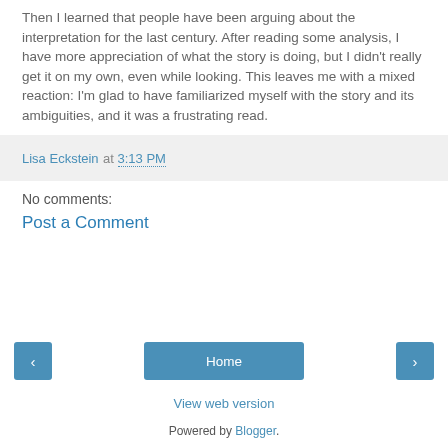Then I learned that people have been arguing about the interpretation for the last century. After reading some analysis, I have more appreciation of what the story is doing, but I didn't really get it on my own, even while looking. This leaves me with a mixed reaction: I'm glad to have familiarized myself with the story and its ambiguities, and it was a frustrating read.
Lisa Eckstein at 3:13 PM
No comments:
Post a Comment
‹
Home
›
View web version
Powered by Blogger.